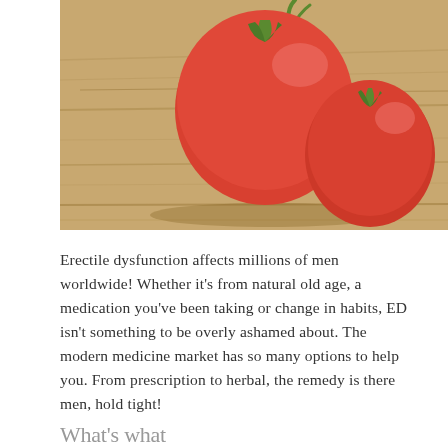[Figure (photo): Close-up photo of two red tomatoes arranged on a wooden surface, suggesting a humorous visual metaphor related to erectile dysfunction.]
Erectile dysfunction affects millions of men worldwide! Whether it's from natural old age, a medication you've been taking or change in habits, ED isn't something to be overly ashamed about. The modern medicine market has so many options to help you. From prescription to herbal, the remedy is there men, hold tight!
What's what